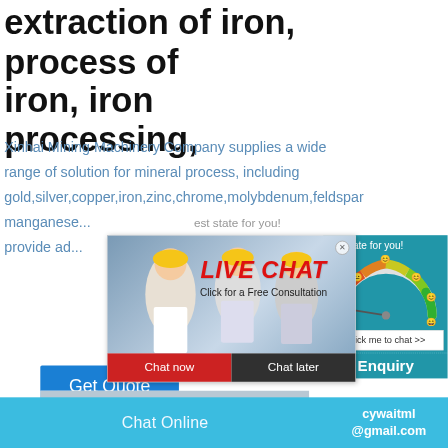extraction of iron, process of iron, iron processing,
Xinhai Mining Machinery Company supplies a wide range of solution for mineral process, including gold,silver,copper,iron,zinc,chrome,molybdenum,feldspar,manganese... provide ad...
[Figure (screenshot): Live chat popup with workers in yellow hard hats, red LIVE CHAT heading, 'Click for a Free Consultation' subtitle, Chat now (red) and Chat later (dark) buttons]
[Figure (screenshot): Satisfaction meter widget on right side with emoji faces and gauge, 'best state for you!' text, 'Click me to chat >>' button, Enquiry label]
[Figure (photo): Mining machinery equipment photo at bottom]
Get Quote
Chat Online    cywaitml@gmail.com